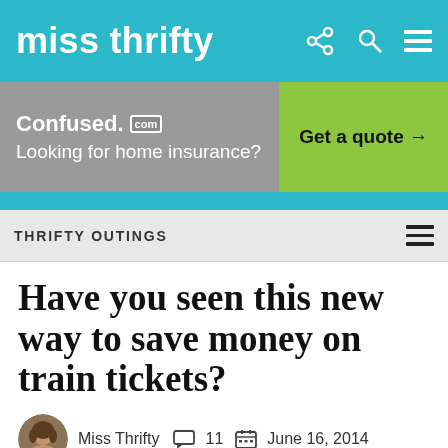miss thrifty
[Figure (screenshot): Advertisement banner: Confused.com — Looking for home insurance? Get a quote →]
THRIFTY OUTINGS
Have you seen this new way to save money on train tickets?
Miss Thrifty  11  June 16, 2014
[Figure (illustration): Partial article image showing a red heart shape with the text 'The easiest' visible, with scenic background images on either side.]